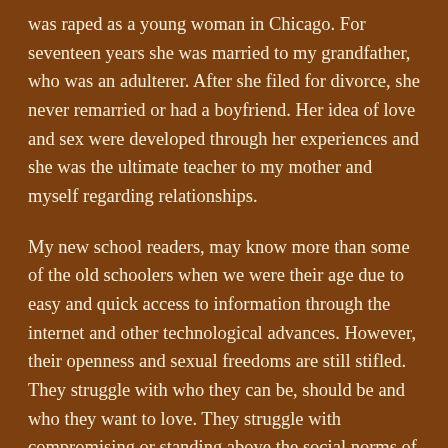was raped as a young woman in Chicago. For seventeen years she was married to my grandfather, who was an adulterer. After she filed for divorce, she never remarried or had a boyfriend. Her idea of love and sex were developed through her experiences and she was the ultimate teacher to my mother and myself regarding relationships.
My new school readers, may know more than some of the old schoolers when we were their age due to easy and quick access to information through the internet and other technological advances. However, their openness and sexual freedoms are still stifled. They struggle with who they can be, should be and who they want to love. They struggle with compromising or standing above the social norms of what relationships should look like today. Some struggle with sexual identity and what they want to be called or not labeled.